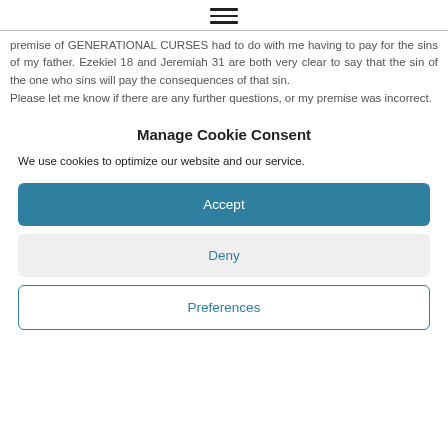≡
premise of GENERATIONAL CURSES had to do with me having to pay for the sins of my father. Ezekiel 18 and Jeremiah 31 are both very clear to say that the sin of the one who sins will pay the consequences of that sin.
Please let me know if there are any further questions, or my premise was incorrect.
Manage Cookie Consent
We use cookies to optimize our website and our service.
Accept
Deny
Preferences